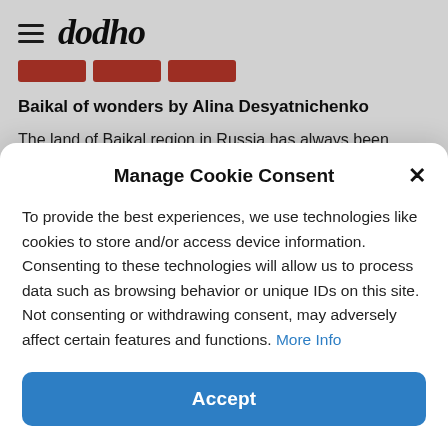dodho
Baikal of wonders by Alina Desyatnichenko
The land of Baikal region in Russia has always been sacred for the local indigenous peoples – buryats. And shamans who could talk to local gods were revered as...
Manage Cookie Consent
To provide the best experiences, we use technologies like cookies to store and/or access device information. Consenting to these technologies will allow us to process data such as browsing behavior or unique IDs on this site. Not consenting or withdrawing consent, may adversely affect certain features and functions. More Info